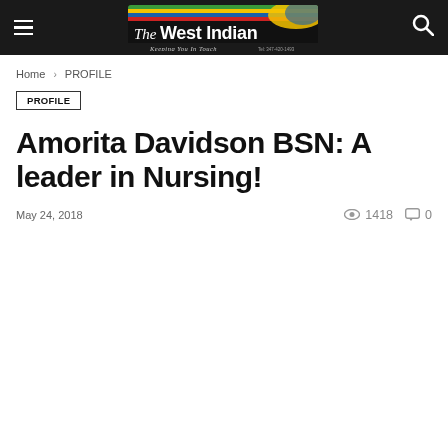The West Indian — Keeping You In Touch
Home › PROFILE
PROFILE
Amorita Davidson BSN: A leader in Nursing!
May 24, 2018   1418   0